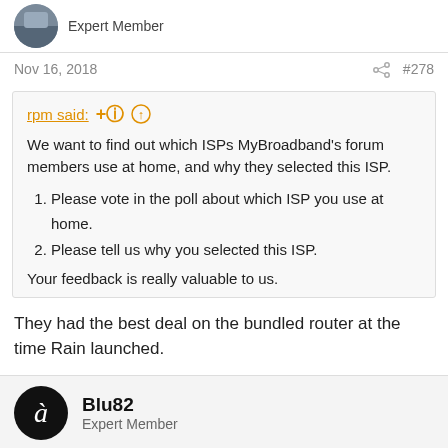Expert Member
Nov 16, 2018  #278
rpm said: ↑
We want to find out which ISPs MyBroadband's forum members use at home, and why they selected this ISP.
1. Please vote in the poll about which ISP you use at home.
2. Please tell us why you selected this ISP.
Your feedback is really valuable to us.
Please vote in the poll about which ISP you use at home.
Please tell us why you selected this ISP.
They had the best deal on the bundled router at the time Rain launched.
Blu82
Expert Member
Nov 16, 2018  #279
Vox due to the old Fatpipe special